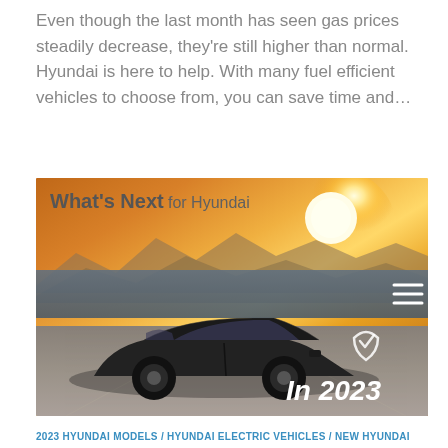Even though the last month has seen gas prices steadily decrease, they’re still higher than normal. Hyundai is here to help. With many fuel efficient vehicles to choose from, you can save time and…
[Figure (photo): Banner image for 'What's Next for Hyundai In 2023' showing a sleek Hyundai concept car on a road against a sunset background with mountains. A dark navigation bar overlays the middle with a hamburger menu icon. A checkmark/smile icon and 'In 2023' text appear on the right side.]
2023 HYUNDAI MODELS / HYUNDAI ELECTRIC VEHICLES / NEW HYUNDAI MODEL
JULY 29, 2022
2023 Model Changes Overview